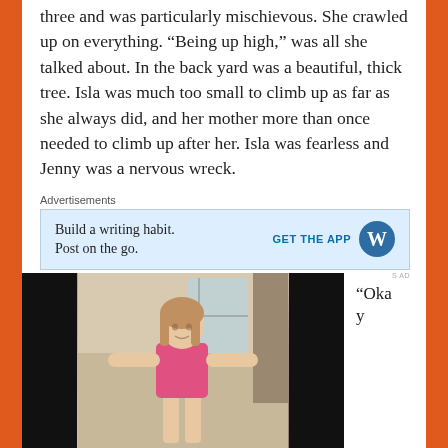three and was particularly mischievous. She crawled up on everything. “Being up high,” was all she talked about. In the back yard was a beautiful, thick tree. Isla was much too small to climb up as far as she always did, and her mother more than once needed to climb up after her. Isla was fearless and Jenny was a nervous wreck.
[Figure (screenshot): Advertisement banner with light blue background. Text reads 'Build a writing habit. Post on the go.' with 'GET THE APP' call to action and WordPress logo.]
“You need to be careful, little girl.”
[Figure (photo): Photo of a young girl in a pink top with arms outstretched, framed by black bars on left and right sides.]
“Okay